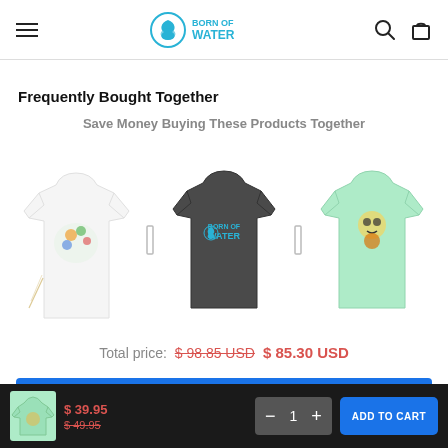Born of Water — navigation header with menu, logo, search, and cart icons
Frequently Bought Together
Save Money Buying These Products Together
[Figure (photo): Three product t-shirts shown side by side: white long-sleeve with colorful fish print, dark grey short-sleeve with Born of Water logo, mint green short-sleeve with skull design]
Total price: $ 98.85 USD  $ 85.30 USD
ADD SELECTED TO CART
$ 39.95  $ 49.95  quantity selector: 1  ADD TO CART